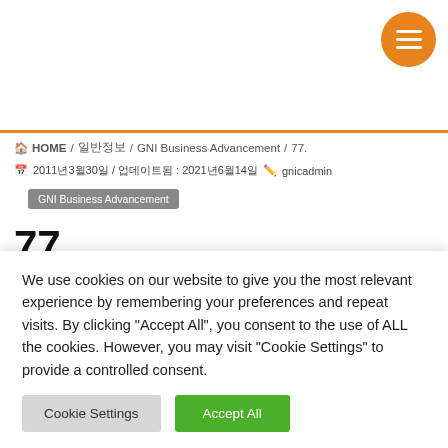HOME / 일반정보 / GNI Business Advancement / 77.
2011년3월30일 / 업데이트됨 : 2021년6월14일 / gnicadmin
GNI Business Advancement
77.
잠재적공급자들이사전자격을얻기위해 2011년2월에보내졌다
We use cookies on our website to give you the most relevant experience by remembering your preferences and repeat visits. By clicking "Accept All", you consent to the use of ALL the cookies. However, you may visit "Cookie Settings" to provide a controlled consent.
Cookie Settings  Accept All